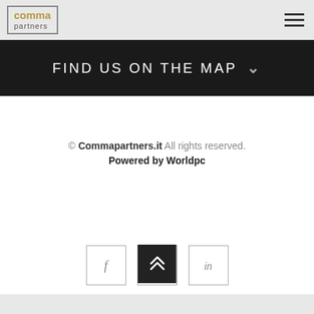comma partners
FIND US ON THE MAP
© Commapartners.it All rights reserved.
Powered by Worldpc
[Figure (other): Social media icons: Facebook (f), Twitter (bird), LinkedIn (in)]
[Figure (other): Scroll to top button with upward chevron arrow, dark background]